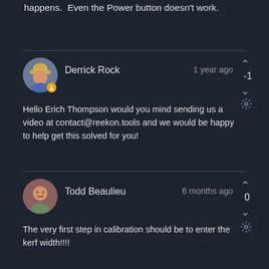happens.  Even the Power button doesn't work.
Derrick Rock · 1 year ago · -1
Hello Erich Thompson would you mind sending us a video at contact@reekon.tools and we would be happy to help get this solved for you!
Todd Beaulieu · 6 months ago · 0
The very first step in calibration should be to enter the kerf width!!!!